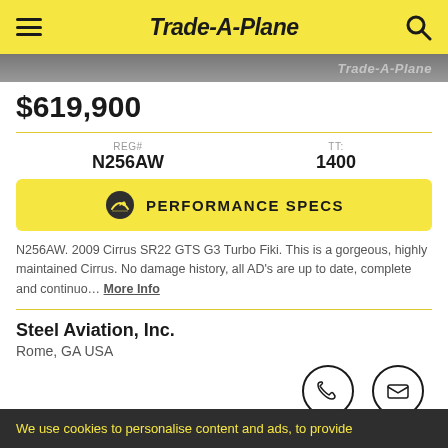Trade-A-Plane
[Figure (photo): Partial aircraft image strip with Trade-A-Plane watermark]
$619,900
| REG# | TT: |
| --- | --- |
| N256AW | 1400 |
PERFORMANCE SPECS
N256AW. 2009 Cirrus SR22 GTS G3 Turbo Fiki. This is a gorgeous, highly maintained Cirrus. No damage history, all AD's are up to date, complete and continuo... More Info
Steel Aviation, Inc.
Rome, GA USA
We use cookies to personalise content and ads, to provide